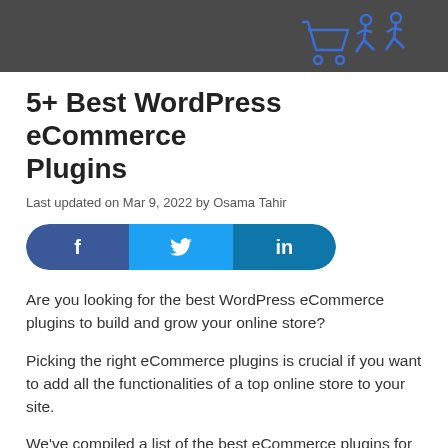[Figure (illustration): Dark gray header banner with blue illustrated shopping cart and figures on the right side]
5+ Best WordPress eCommerce Plugins
Last updated on Mar 9, 2022 by Osama Tahir
[Figure (infographic): Social sharing buttons bar with Facebook (dark blue), Twitter (light blue), and LinkedIn (teal blue) icons]
Are you looking for the best WordPress eCommerce plugins to build and grow your online store?
Picking the right eCommerce plugins is crucial if you want to add all the functionalities of a top online store to your site.
We've compiled a list of the best eCommerce plugins for WordPress that can help you increase sales and grow your